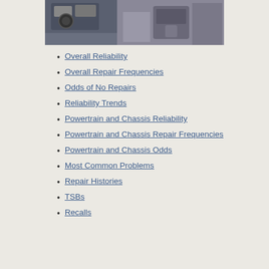[Figure (photo): Interior of a car showing the dashboard, steering wheel, center console, and gear shift area from the driver's perspective.]
Overall Reliability
Overall Repair Frequencies
Odds of No Repairs
Reliability Trends
Powertrain and Chassis Reliability
Powertrain and Chassis Repair Frequencies
Powertrain and Chassis Odds
Most Common Problems
Repair Histories
TSBs
Recalls